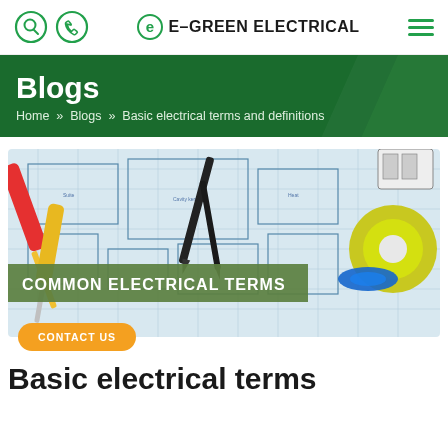E-GREEN ELECTRICAL
Blogs
Home » Blogs » Basic electrical terms and definitions
[Figure (photo): Photo of electrical tools (screwdrivers, wire cutters) placed on a technical blueprint/electrical plan drawing, with a roll of yellow-green and blue insulation tape. Text overlay reads COMMON ELECTRICAL TERMS on a teal/olive banner.]
CONTACT US
Basic electrical terms